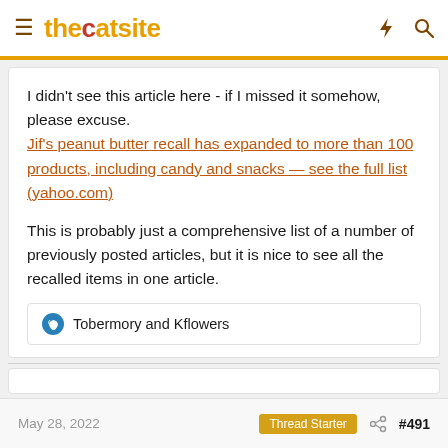thecatsite
I didn't see this article here - if I missed it somehow, please excuse.
Jif's peanut butter recall has expanded to more than 100 products, including candy and snacks — see the full list (yahoo.com)

This is probably just a comprehensive list of a number of previously posted articles, but it is nice to see all the recalled items in one article.
Tobermory and Kflowers
May 28, 2022   Thread Starter   #491